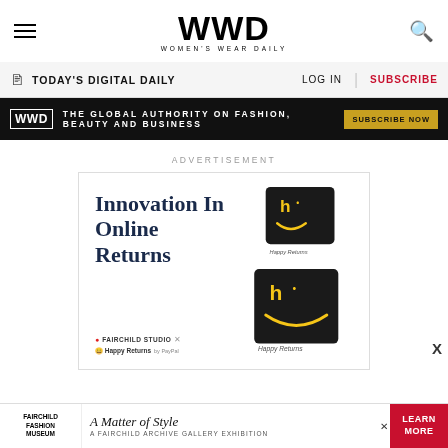[Figure (logo): WWD Women's Wear Daily website header with hamburger menu, WWD logo, and search icon]
TODAY'S DIGITAL DAILY | LOG IN | SUBSCRIBE
[Figure (infographic): WWD black banner: The Global Authority on Fashion, Beauty and Business - Subscribe Now button]
ADVERTISEMENT
[Figure (infographic): Innovation In Online Returns - Fairchild Studio x Happy Returns advertisement with black Happy Returns boxes]
[Figure (infographic): Fairchild Fashion Museum - A Matter of Style: A Fairchild Archive Gallery Exhibition - Learn More (bottom banner ad)]